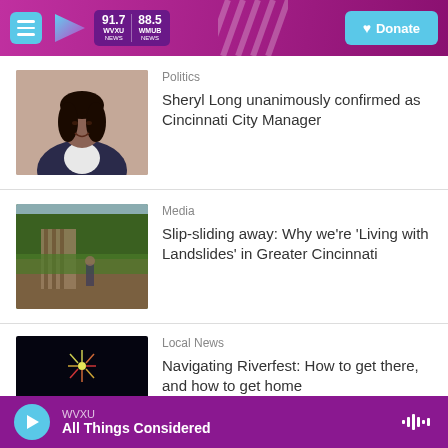WVXU 91.7 NEWS | WMUB 88.5 NEWS | Donate
[Figure (photo): Portrait photo of a woman in a dark blazer smiling]
Politics
Sheryl Long unanimously confirmed as Cincinnati City Manager
[Figure (photo): Outdoor photo showing a collapsing or sliding hillside with vegetation]
Media
Slip-sliding away: Why we're 'Living with Landslides' in Greater Cincinnati
[Figure (photo): Night cityscape with lights and fireworks]
Local News
Navigating Riverfest: How to get there, and how to get home
WVXU | All Things Considered